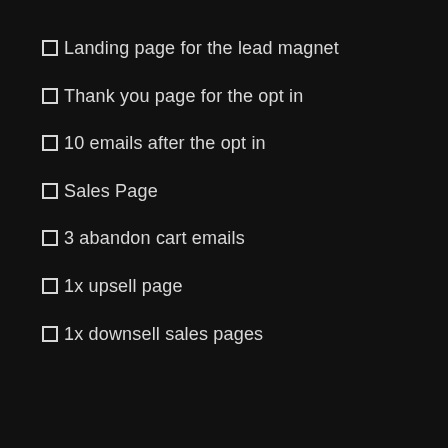Landing page for the lead magnet
Thank you page for the opt in
10 emails after the opt in
Sales Page
3 abandon cart emails
1x upsell page
1x downsell sales pages